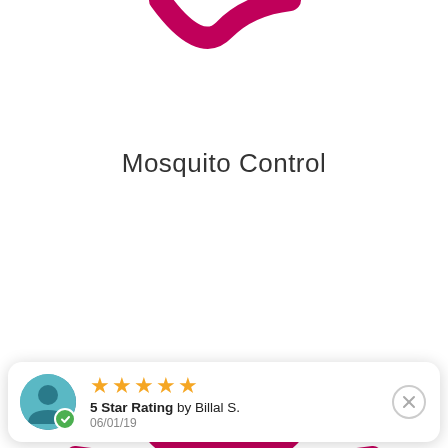[Figure (illustration): Pink/magenta mosquito or tick insect icon on white background, showing partial antennae at top and a full tick/bug body with legs in the center-lower portion of the image]
Mosquito Control
5 Star Rating by Billal S. 06/01/19